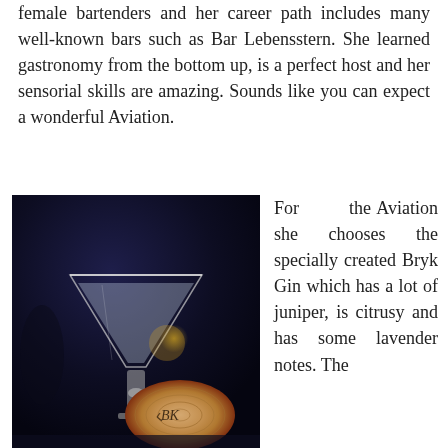female bartenders and her career path includes many well-known bars such as Bar Lebensstern. She learned gastronomy from the bottom up, is a perfect host and her sensorial skills are amazing. Sounds like you can expect a wonderful Aviation.
[Figure (photo): A martini-style cocktail glass filled with a pale blue-white Aviation cocktail, with a decorative crystal stem. Next to it is a cross-section of a log branded with the Bryk Gin logo (stylized BK letters). Dark moody bar background.]
For the Aviation she chooses the specially created Bryk Gin which has a lot of juniper, is citrusy and has some lavender notes. The